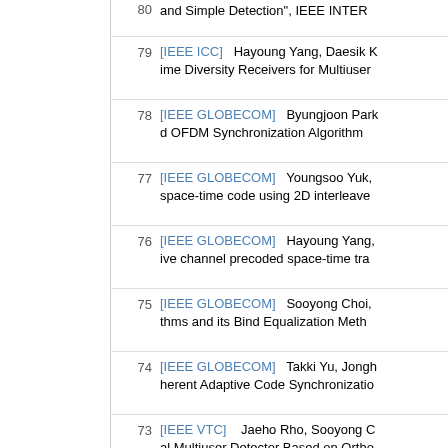[partial] and Simple Detection", IEEE INTER
79 [IEEE ICC] Hayoung Yang, Daesik K... ime Diversity Receivers for Multiuser
78 [IEEE GLOBECOM] Byungjoon Park... d OFDM Synchronization Algorithm
77 [IEEE GLOBECOM] Youngsoo Yuk, ... space-time code using 2D interleave
76 [IEEE GLOBECOM] Hayoung Yang, ... ive channel precoded space-time tra
75 [IEEE GLOBECOM] Sooyong Choi, ... thms and its Bind Equalization Meth
74 [IEEE GLOBECOM] Takki Yu, Jongh... herent Adaptive Code Synchronizatio
73 [IEEE VTC] Jaeho Rho, Sooyong C... al Multiuser Detector Based on Ortho
72 [IEEE VTC] Hayoung Yang, Bonjin K... ding based transmit diversity using a
71 [IEEE VTC] Youngsoo Yuk, Cheolwe... Time Code using 2D Interleaver", IE
xx [IEEE VTC] Takki Ryu, Jounghyung...